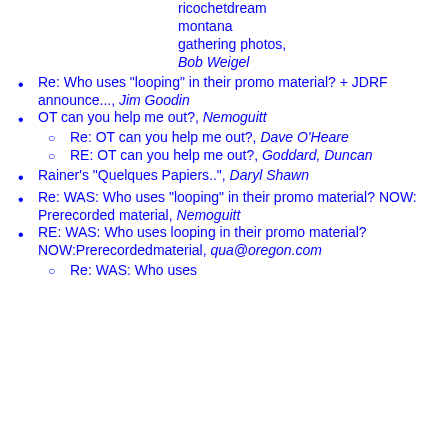ricochetdream montana gathering photos, Bob Weigel
Re: Who uses "looping" in their promo material? + JDRF announce..., Jim Goodin
OT can you help me out?, Nemoguitt
Re: OT can you help me out?, Dave O'Heare
RE: OT can you help me out?, Goddard, Duncan
Rainer's "Quelques Papiers..", Daryl Shawn
Re: WAS: Who uses "looping" in their promo material? NOW: Prerecorded material, Nemoguitt
RE: WAS: Who uses looping in their promo material? NOW:Prerecordedmaterial, qua@oregon.com
Re: WAS: Who uses